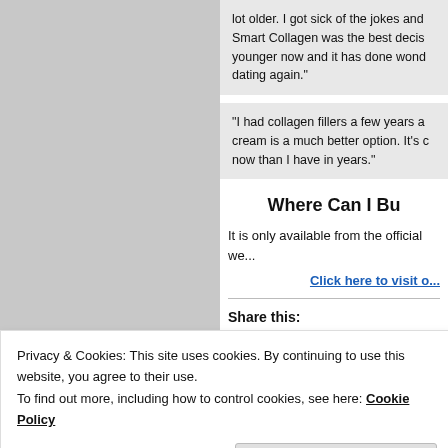lot older. I got sick of the jokes and... Smart Collagen was the best decis... younger now and it has done wond... dating again."
“I had collagen fillers a few years a... cream is a much better option. It’s c... now than I have in years.”
Where Can I Bu...
It is only available from the official we...
Click here to visit o...
Share this:
Email   Facebook   Twitt...
Privacy & Cookies: This site uses cookies. By continuing to use this website, you agree to their use.
To find out more, including how to control cookies, see here: Cookie Policy
Close and accept
The information on this website is fo...